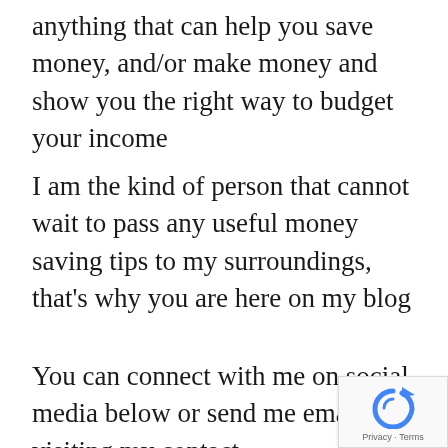anything that can help you save money, and/or make money and show you the right way to budget your income
I am the kind of person that cannot wait to pass any useful money saving tips to my surroundings, that's why you are here on my blog
You can connect with me on social media below or send me email by visiting my contact